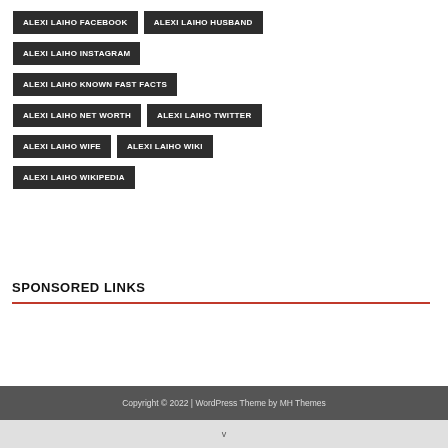ALEXI LAIHO FACEBOOK
ALEXI LAIHO HUSBAND
ALEXI LAIHO INSTAGRAM
ALEXI LAIHO KNOWN FAST FACTS
ALEXI LAIHO NET WORTH
ALEXI LAIHO TWITTER
ALEXI LAIHO WIFE
ALEXI LAIHO WIKI
ALEXI LAIHO WIKIPEDIA
SPONSORED LINKS
Copyright © 2022 | WordPress Theme by MH Themes
v